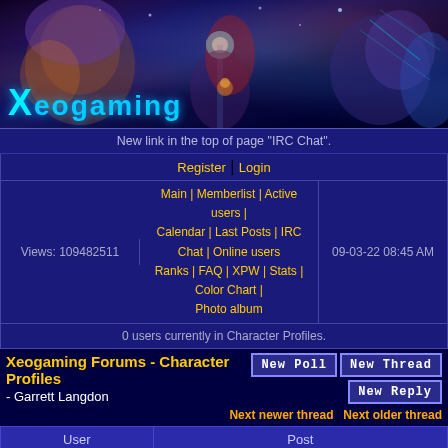[Figure (illustration): Xeogaming forum banner with sci-fi/video game artwork showing robot/character heads in dark purple space background, with Xeogaming logo in cyan text at bottom left]
New link in the top of page "IRC Chat".
Register | Login
Views: 109482511 | Main | Memberlist | Active users | Calendar | Last Posts | IRC Chat | Online users | Ranks | FAQ | XPW | Stats | Color Chart | Photo album | 09-03-22 08:45 AM
0 users currently in Character Profiles.
Xeogaming Forums - Character Profiles - Garrett Langdon
Next newer thread | Next older thread
| User | Post |
| --- | --- |
| cityondown012510
Red Cheep-cheep
Level:
Posts: 201 | Posted on 10-22-10 02:46 AM | Link | Quote

Name: Garrett Langdon
Age: 20
Birthplace: Catonsville, Maryland
Weapons: usually fights unarmed, but always carries a katana and a switchblade for protection |